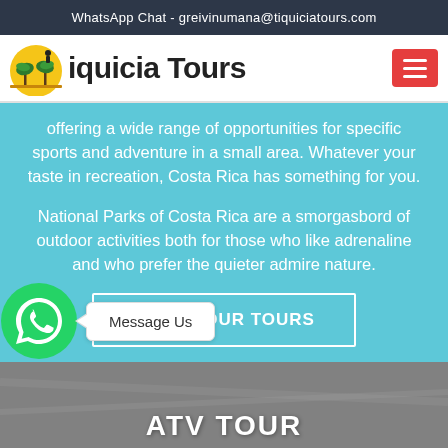WhatsApp Chat - greivinumana@tiquiciatours.com
[Figure (logo): Tiquicia Tours logo with palm trees and a person silhouette]
offering a wide range of opportunities for specific sports and adventure in a small area. Whatever your taste in recreation, Costa Rica has something for you.
National Parks of Costa Rica are a smorgasbord of outdoor activities both for those who like adrenaline and who prefer the quieter admire nature.
CHECK OUR TOURS
Message Us
ATV TOUR